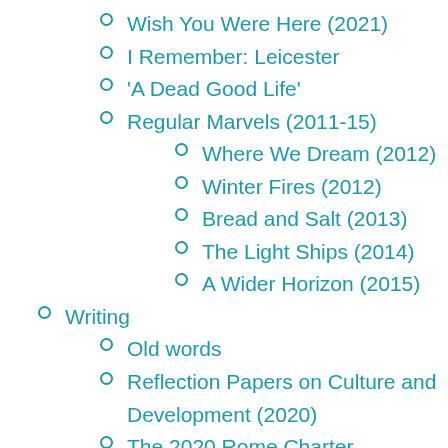Wish You Were Here (2021)
I Remember: Leicester
'A Dead Good Life'
Regular Marvels (2011-15)
Where We Dream (2012)
Winter Fires (2012)
Bread and Salt (2013)
The Light Ships (2014)
A Wider Horizon (2015)
Writing
Old words
Reflection Papers on Culture and Development (2020)
The 2020 Rome Charter
'Talking Until Nightfall' (2020)